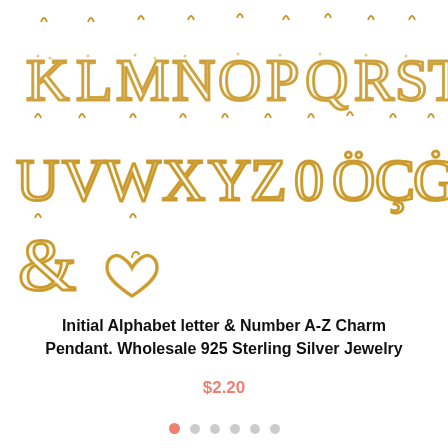[Figure (photo): Product image showing gold crystal rhinestone initial alphabet letter charm pendants arranged in rows: K L M N O P Q R S T in row 1, U V W X Y Z 0 O Ç Ġ in row 2, & and heart symbol in row 3. Charms are gold-colored with crystal/diamond studded outlines on white background.]
Initial Alphabet letter & Number A-Z Charm Pendant. Wholesale 925 Sterling Silver Jewelry
$2.20